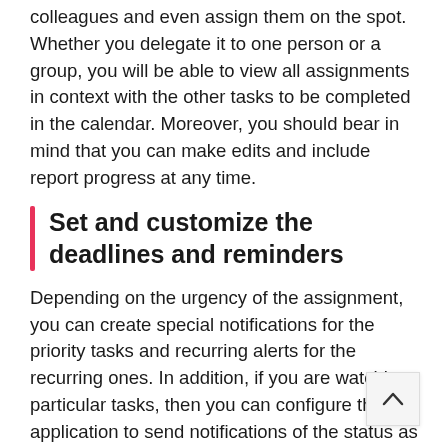colleagues and even assign them on the spot. Whether you delegate it to one person or a group, you will be able to view all assignments in context with the other tasks to be completed in the calendar. Moreover, you should bear in mind that you can make edits and include report progress at any time.
Set and customize the deadlines and reminders
Depending on the urgency of the assignment, you can create special notifications for the priority tasks and recurring alerts for the recurring ones. In addition, if you are watching particular tasks, then you can configure the application to send notifications of the status as well as the comments that the assignees might have on the topic.
Speaking of priorities, all projects come with a bundle of tasks, some more urgent than others. Therefore, to make things simpler and more efficient, you can assign colors to tasks to